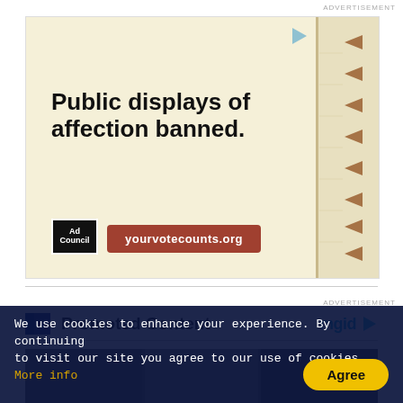ADVERTISEMENT
[Figure (photo): Ad Council advertisement on notebook paper background with text 'Public displays of affection banned.' and yourvotecounts.org button, with spiral notebook edge on right side]
ADVERTISEMENT
Promoted Content
[Figure (photo): Bottom image strip showing a photo]
We use cookies to enhance your experience. By continuing to visit our site you agree to our use of cookies. More info